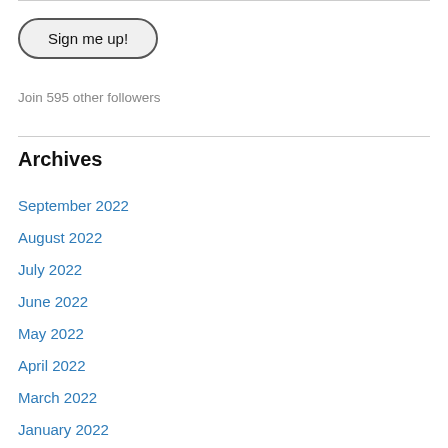Sign me up!
Join 595 other followers
Archives
September 2022
August 2022
July 2022
June 2022
May 2022
April 2022
March 2022
January 2022
December 2021
November 2021
October 2021
September 2021